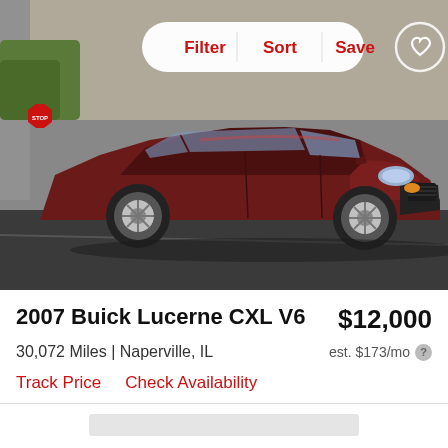[Figure (photo): Dark red/maroon 2007 Buick Lucerne CXL V6 sedan parked in a lot, photographed from the front-left angle. A white pill-shaped toolbar with Filter | Sort | Save buttons in red is overlaid at the top center. A heart icon button is in the top right corner.]
2007 Buick Lucerne CXL V6
$12,000
30,072 Miles | Naperville, IL
est. $173/mo
Track Price    Check Availability